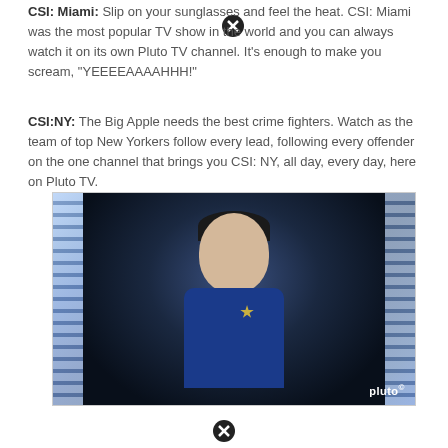CSI: Miami: Slip on your sunglasses and feel the heat. CSI: Miami was the most popular TV show in the world and you can always watch it on its own Pluto TV channel. It's enough to make you scream, "YEEEEAAAAHHH!"
CSI:NY: The Big Apple needs the best crime fighters. Watch as the team of top New Yorkers follow every lead, following every offender on the one channel that brings you CSI: NY, all day, every day, here on Pluto TV.
[Figure (photo): A man resembling Spock from Star Trek wearing a blue uniform with a Starfleet badge, looking upward against a background of glowing light panels. Pluto TV watermark in bottom right corner.]